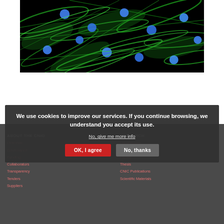[Figure (photo): Fluorescence microscopy image of cells showing green cytoskeletal filaments (actin) and blue nuclei (DAPI staining) on a dark black background. Elongated cells with bright green fibrous structures and multiple round blue nuclei scattered across the field.]
ABOUT THE CNIO
RESEARCH
Overview
Governance
Funding
Collaborators
Transparency
Tenders
Suppliers
Laboratories
Technical Units
Facility
Thesis
CNIC Publications
Scientific Materials
We use cookies to improve our services. If you continue browsing, we understand you accept its use.
No, give me more info
OK, I agree
No, thanks